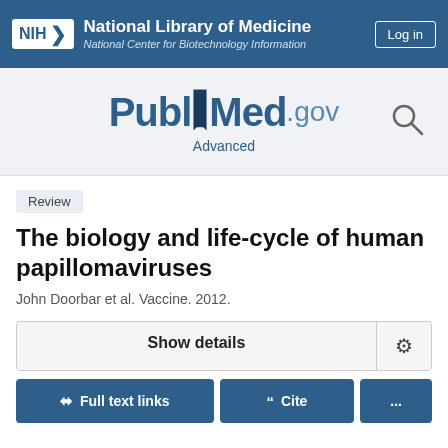NIH National Library of Medicine National Center for Biotechnology Information | Log in
[Figure (logo): PubMed.gov logo with bookmark icon and search icon, with Advanced link below]
Review
The biology and life-cycle of human papillomaviruses
John Doorbar et al. Vaccine. 2012.
Show details
Full text links | Cite | ...